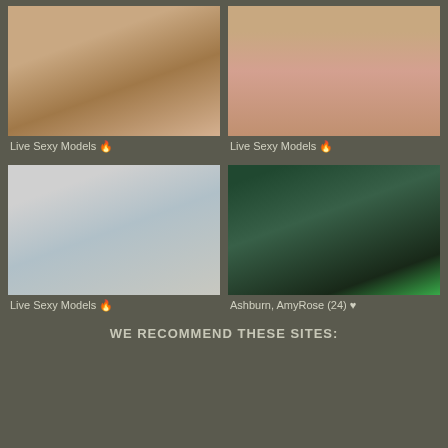[Figure (photo): Photo of tattooed blonde woman posing indoors]
Live Sexy Models 🔥
[Figure (photo): Close-up photo]
Live Sexy Models 🔥
[Figure (photo): Photo of blonde woman in bow tie posing]
Live Sexy Models 🔥
[Figure (photo): Photo of young woman with green hair in arcade]
Ashburn, AmyRose (24) ♥
WE RECOMMEND THESE SITES: